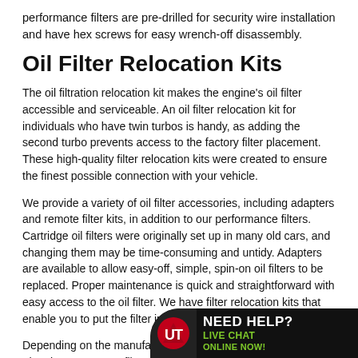performance filters are pre-drilled for security wire installation and have hex screws for easy wrench-off disassembly.
Oil Filter Relocation Kits
The oil filtration relocation kit makes the engine's oil filter accessible and serviceable. An oil filter relocation kit for individuals who have twin turbos is handy, as adding the second turbo prevents access to the factory filter placement. These high-quality filter relocation kits were created to ensure the finest possible connection with your vehicle.
We provide a variety of oil filter accessories, including adapters and remote filter kits, in addition to our performance filters. Cartridge oil filters were originally set up in many old cars, and changing them may be time-consuming and untidy. Adapters are available to allow easy-off, simple, spin-on oil filters to be replaced. Proper maintenance is quick and straightforward with easy access to the oil filter. We have filter relocation kits that enable you to put the filter in an easily accessible place.
Depending on the manufacturer, the actual contents will vary. The clamps, remote filter moun... fittings, and hardware, are...
[Figure (other): Live chat widget overlay with red/black logo and 'NEED HELP? LIVE CHAT ONLINE NOW!' text]